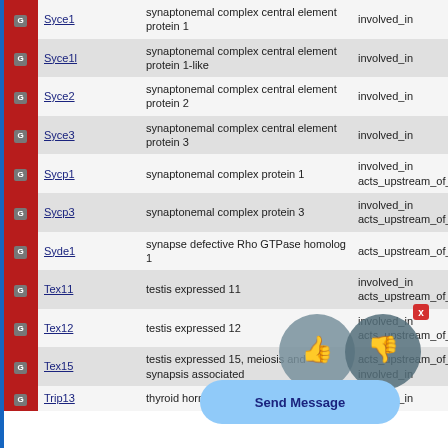|  | Gene | Description | Relationship |
| --- | --- | --- | --- |
| G | Syce1 | synaptonemal complex central element protein 1 | involved_in |
| G | Syce1l | synaptonemal complex central element protein 1-like | involved_in |
| G | Syce2 | synaptonemal complex central element protein 2 | involved_in |
| G | Syce3 | synaptonemal complex central element protein 3 | involved_in |
| G | Sycp1 | synaptonemal complex protein 1 | involved_in
acts_upstream_of_or_within |
| G | Sycp3 | synaptonemal complex protein 3 | involved_in
acts_upstream_of_or_within |
| G | Syde1 | synapse defective Rho GTPase homolog 1 | acts_upstream_of_or_within |
| G | Tex11 | testis expressed 11 | involved_in
acts_upstream_of_or_within |
| G | Tex12 | testis expressed 12 | involved_in
acts_upstream_of_or_within |
| G | Tex15 | testis expressed 15, meiosis and synapsis associated | acts_upstream_of_or_within
involved_in |
| G | Trip13 | thyroid hormone receptor interactor 13 | involved_in |